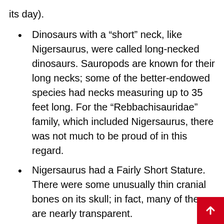its day).
Dinosaurs with a “short” neck, like Nigersaurus, were called long-necked dinosaurs. Sauropods are known for their long necks; some of the better-endowed species had necks measuring up to 35 feet long. For the “Rebbachisauridae” family, which included Nigersaurus, there was not much to be proud of in this regard.
Nigersaurus had a Fairly Short Stature. There were some unusually thin cranial bones on its skull; in fact, many of them are nearly transparent.
superior to other herbivore dinosaurs in terms of vision. The long necks of most herbivores allowed them to see vast distances, making